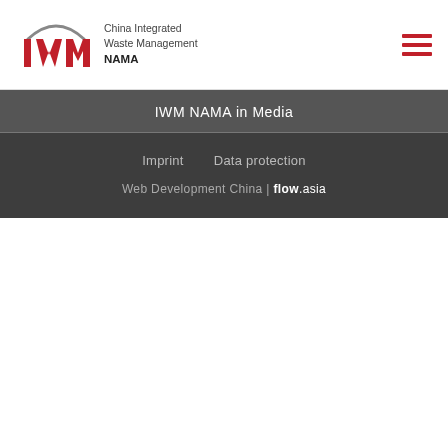[Figure (logo): IWM logo: red stylized letters IWM with a grey arc, alongside text 'China Integrated Waste Management NAMA']
IWM NAMA in Media
Imprint   Data protection
Web Development China | flow.asia